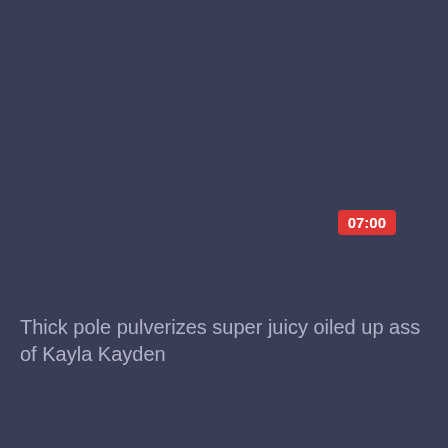[Figure (screenshot): Dark blue-gray video thumbnail card with a red duration badge showing 07:00 in the upper right area and a video title at the bottom.]
Thick pole pulverizes super juicy oiled up ass of Kayla Kayden